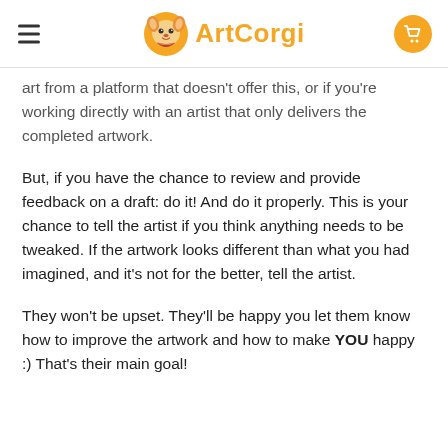ArtCorgi
art from a platform that doesn't offer this, or if you're working directly with an artist that only delivers the completed artwork.
But, if you have the chance to review and provide feedback on a draft: do it! And do it properly. This is your chance to tell the artist if you think anything needs to be tweaked. If the artwork looks different than what you had imagined, and it's not for the better, tell the artist.
They won't be upset. They'll be happy you let them know how to improve the artwork and how to make YOU happy :) That's their main goal!